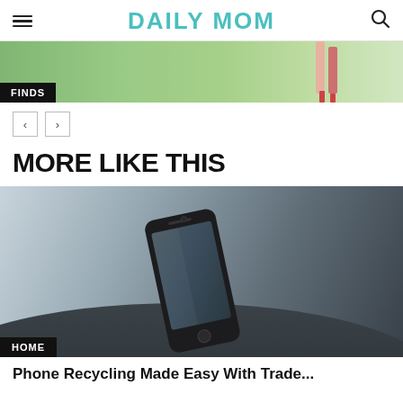DAILY MOM
[Figure (photo): Cropped image showing person's legs with red shoes near a railing, with FINDS badge overlay]
[Figure (other): Navigation arrows: left and right]
MORE LIKE THIS
[Figure (photo): Smartphone with black case lying on a dark wooden table, with HOME badge overlay]
Phone Recycling Made Easy With Trade...